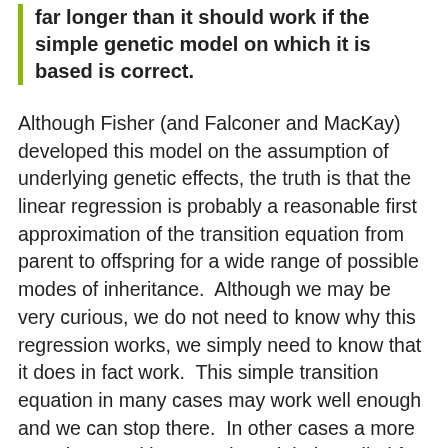far longer than it should work if the simple genetic model on which it is based is correct.
Although Fisher (and Falconer and MacKay) developed this model on the assumption of underlying genetic effects, the truth is that the linear regression is probably a reasonable first approximation of the transition equation from parent to offspring for a wide range of possible modes of inheritance.  Although we may be very curious, we do not need to know why this regression works, we simply need to know that it does in fact work.  This simple transition equation in many cases may work well enough and we can stop there.  In other cases a more complex transition equation might be called for.